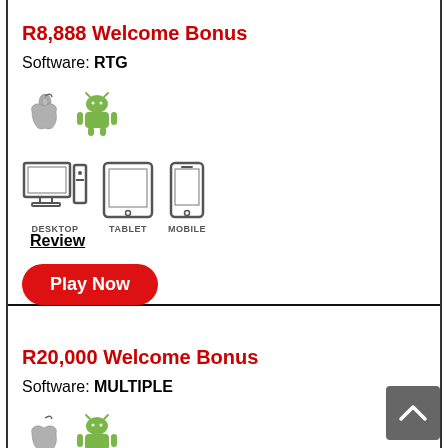R8,888 Welcome Bonus
Software: RTG
[Figure (illustration): Apple iOS and Android OS logos (platform icons)]
[Figure (illustration): Desktop, Tablet, and Mobile device icons with labels DESKTOP, TABLET, MOBILE]
Review
Play Now
R20,000 Welcome Bonus
Software: MULTIPLE
[Figure (illustration): Apple iOS and Android OS logos (platform icons)]
[Figure (illustration): Desktop, Tablet, and Mobile device icons (partially visible)]